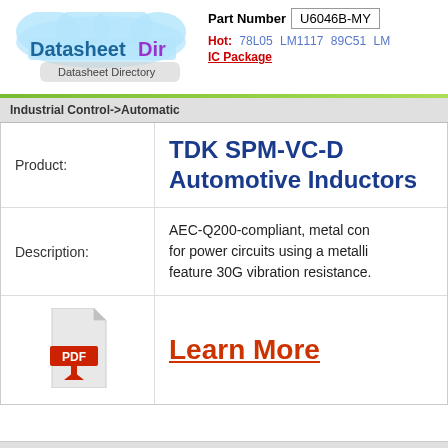[Figure (logo): DatasheetDir logo with cloud graphic and 'Datasheet Directory' text]
Part Number U6046B-MY
Hot: 78L05 LM1117 89C51 LM IC Package
Industrial Control->Automatic
|  |  |
| --- | --- |
| Product: | TDK SPM-VC-D Automotive Inductors |
| Description: | AEC-Q200-compliant, metal con... for power circuits using a metalli... feature 30G vibration resistance. |
| [PDF icon] | Learn More |